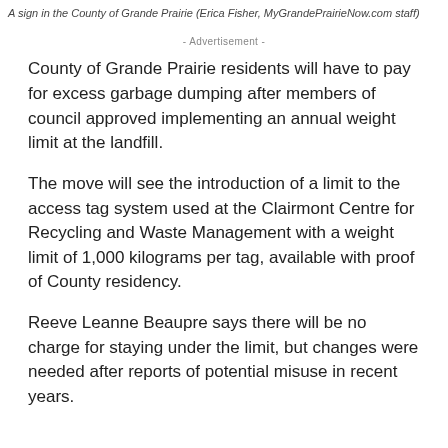A sign in the County of Grande Prairie (Erica Fisher, MyGrandePrairieNow.com staff)
- Advertisement -
County of Grande Prairie residents will have to pay for excess garbage dumping after members of council approved implementing an annual weight limit at the landfill.
The move will see the introduction of a limit to the access tag system used at the Clairmont Centre for Recycling and Waste Management with a weight limit of 1,000 kilograms per tag, available with proof of County residency.
Reeve Leanne Beaupre says there will be no charge for staying under the limit, but changes were needed after reports of potential misuse in recent years.